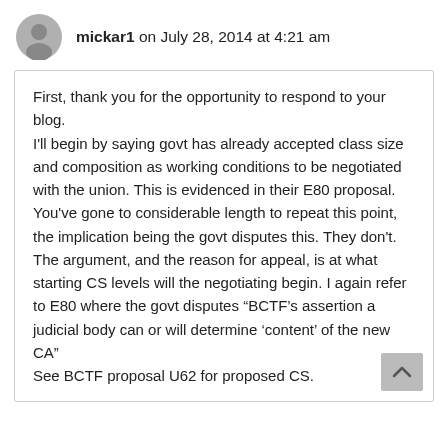mickar1 on July 28, 2014 at 4:21 am
First, thank you for the opportunity to respond to your blog.
I'll begin by saying govt has already accepted class size and composition as working conditions to be negotiated with the union. This is evidenced in their E80 proposal.
You've gone to considerable length to repeat this point, the implication being the govt disputes this. They don't.
The argument, and the reason for appeal, is at what starting CS levels will the negotiating begin. I again refer to E80 where the govt disputes “BCTF’s assertion a judicial body can or will determine ‘content’ of the new CA”
See BCTF proposal U62 for proposed CS.